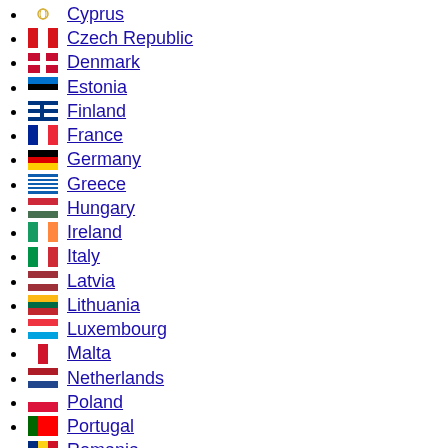Bulgaria
Cyprus
Czech Republic
Denmark
Estonia
Finland
France
Germany
Greece
Hungary
Ireland
Italy
Latvia
Lithuania
Luxembourg
Malta
Netherlands
Poland
Portugal
Romania
Slovakia
Slovenia
Spain
Sweden